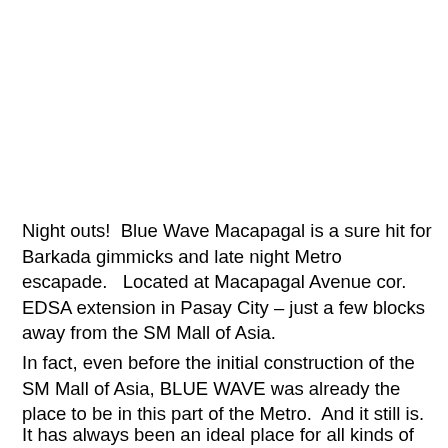Night outs!  Blue Wave Macapagal is a sure hit for Barkada gimmicks and late night Metro escapade.   Located at Macapagal Avenue cor.   EDSA extension in Pasay City – just a few blocks away from the SM Mall of Asia.
In fact, even before the initial construction of the SM Mall of Asia, BLUE WAVE was already the place to be in this part of the Metro.  And it still is.
It has always been an ideal place for all kinds of meetings and gatherings and with the addition of THE COURTYARD with its live bands nightly – it easily became the official hang